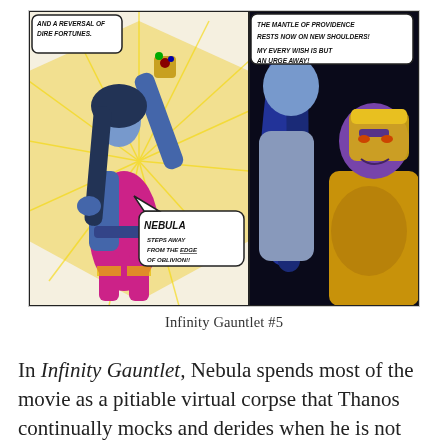[Figure (illustration): Two comic book panels from Infinity Gauntlet #5. Left panel shows Nebula, a woman in a blue and magenta costume with dark hair, raising her fist holding the Infinity Gauntlet upward with speech bubbles reading 'AND A REVERSAL OF DIRE FORTUNES.' and 'NEBULA STEPS AWAY FROM THE EDGE OF OBLIVION!!'. Right panel shows Nebula from behind with long blue hair and Thanos in his golden armor and purple face in the background, with speech bubbles reading 'THE MANTLE OF PROVIDENCE RESTS NOW ON NEW SHOULDERS!' and 'MY EVERY WISH IS BUT AN URGE AWAY!']
Infinity Gauntlet #5
In Infinity Gauntlet, Nebula spends most of the movie as a pitiable virtual corpse that Thanos continually mocks and derides when he is not busy causing chaos and death. But in a moment of distraction she manages to wrest the Infinity Gauntlet away...